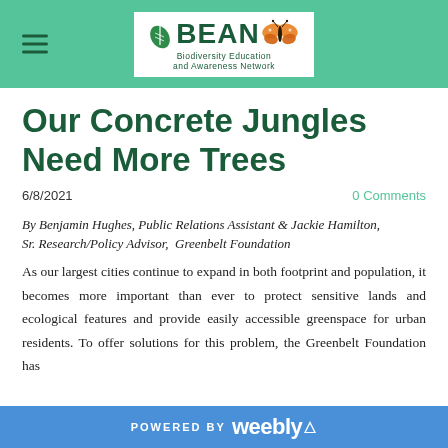BEAN — Biodiversity Education and Awareness Network
Our Concrete Jungles Need More Trees
6/8/2021   0 Comments
By Benjamin Hughes, Public Relations Assistant & Jackie Hamilton, Sr. Research/Policy Advisor, Greenbelt Foundation
As our largest cities continue to expand in both footprint and population, it becomes more important than ever to protect sensitive lands and ecological features and provide easily accessible greenspace for urban residents. To offer solutions for this problem, the Greenbelt Foundation has
POWERED BY weebly